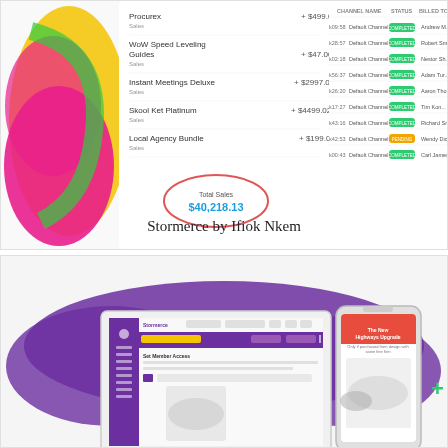[Figure (screenshot): Screenshot of Stormerce dashboard showing product sales list with items like Procurex, WoW Speed Leveling Guides, Instant Meetings Deluxe, Skool Ket Platinum, Local Agency Bundle with prices, a colorful logo on the left, Total Sales of $40,218.13 circled in red, and a transaction table on the right showing Default Channel transactions with COMPLETED/PENDING statuses and customer names.]
Stormerce by Ifiok Nkem
[Figure (screenshot): Screenshot of Stormerce platform showing a purple blob background with a laptop displaying the Stormerce admin interface (purple sidebar, product pages) and a mobile phone showing a product page for 'The New Highways Upgrade' with sneaker images, plus a green plus icon.]